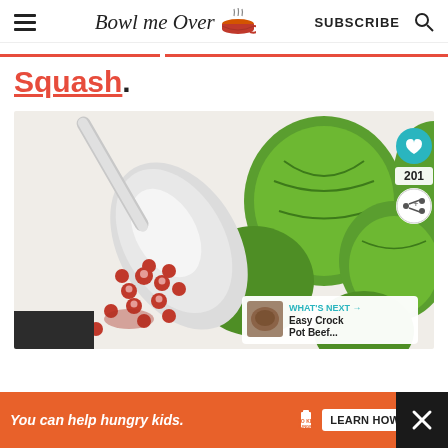Bowl me Over — SUBSCRIBE
Squash.
[Figure (photo): A silver spoon scooping pomegranate seeds alongside roasted Brussels sprouts on a white background.]
WHAT'S NEXT → Easy Crock Pot Beef...
You can help hungry kids. NO KID HUNGRY LEARN HOW